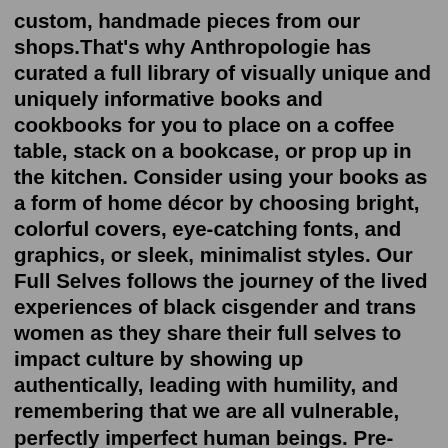custom, handmade pieces from our shops.That's why Anthropologie has curated a full library of visually unique and uniquely informative books and cookbooks for you to place on a coffee table, stack on a bookcase, or prop up in the kitchen. Consider using your books as a form of home décor by choosing bright, colorful covers, eye-catching fonts, and graphics, or sleek, minimalist styles. Our Full Selves follows the journey of the lived experiences of black cisgender and trans women as they share their full selves to impact culture by showing up authentically, leading with humility, and remembering that we are all vulnerable, perfectly imperfect human beings. Pre-order your copy of this one of a kind coffee table book today! Name *.Find many varieties of an authentic coffee table book available at 1stDibs. A coffee table book — often made from paper, wood and metal — can elevate any home. There are 158 variations of the antique or vintage coffee table book you're looking for, while we also have 4 modern editions of this piece to choose from as well. Browse these antique books...